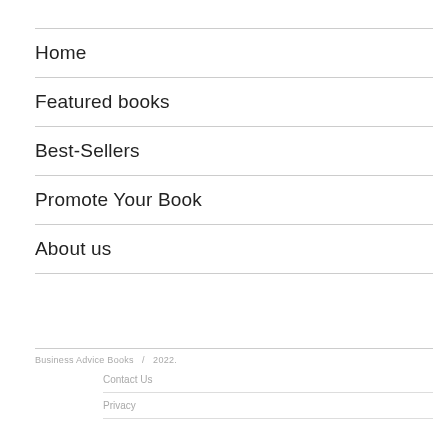Home
Featured books
Best-Sellers
Promote Your Book
About us
Business Advice Books  /  2022.
Contact Us
Privacy